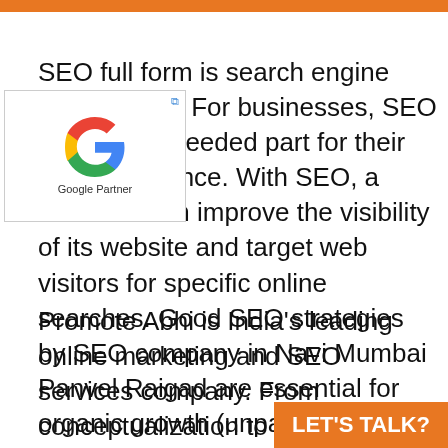[Figure (logo): Google Partner logo with colorful G and text 'Google Partner' below]
SEO full form is search engine optimization. For businesses, SEO is the most needed part for their online presence. With SEO, a business can improve the visibility of its website and target web visitors for specific online searches. Good SEO strategies by SEO company in Navi Mumbai Panvel Raigad are essential for organic growth (unpaid traffic). SEO offers many benefits including:
Promote Abhi is India's leading online marketing and SEO services company. From conceptualization to execution of the final phase, we implement the entire
LET'S TALK?